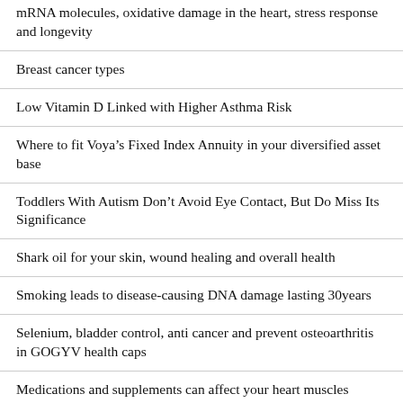mRNA molecules, oxidative damage in the heart, stress response and longevity
Breast cancer types
Low Vitamin D Linked with Higher Asthma Risk
Where to fit Voya’s Fixed Index Annuity in your diversified asset base
Toddlers With Autism Don’t Avoid Eye Contact, But Do Miss Its Significance
Shark oil for your skin, wound healing and overall health
Smoking leads to disease-causing DNA damage lasting 30years
Selenium, bladder control, anti cancer and prevent osteoarthritis in GOGYV health caps
Medications and supplements can affect your heart muscles
Brain Clips Provide Insights Into How the Body Controls...